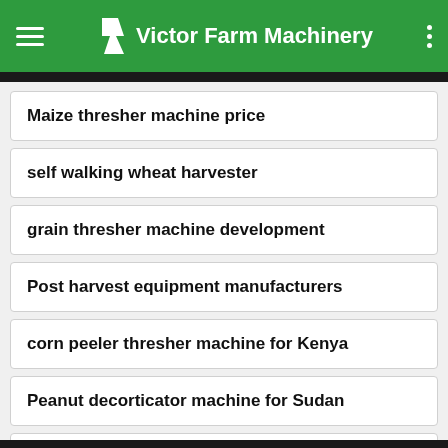Victor Farm Machinery
Maize thresher machine price
self walking wheat harvester
grain thresher machine development
Post harvest equipment manufacturers
corn peeler thresher machine for Kenya
Peanut decorticator machine for Sudan
10 sets millet thresher to Nigeria
Deliver 2 sets diesel chaff cutter